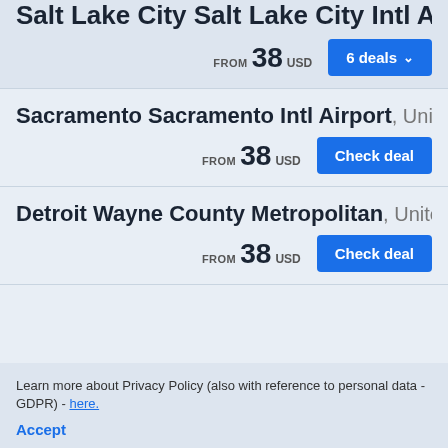Salt Lake City Salt Lake City Intl Airport , ...
FROM 38 USD
6 deals
Sacramento Sacramento Intl Airport , Unit...
FROM 38 USD
Check deal
Detroit Wayne County Metropolitan , Unite...
FROM 38 USD
Check deal
Learn more about Privacy Policy (also with reference to personal data - GDPR) - here.
Accept